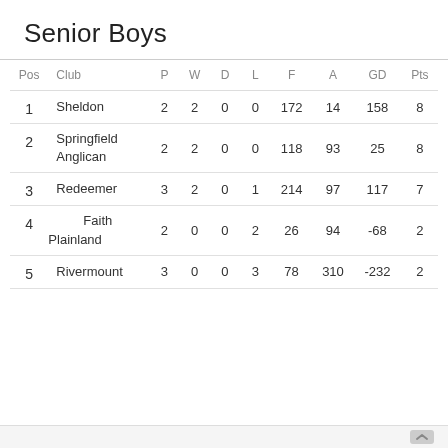Senior Boys
| Pos | Club | P | W | D | L | F | A | GD | Pts |
| --- | --- | --- | --- | --- | --- | --- | --- | --- | --- |
| 1 | Sheldon | 2 | 2 | 0 | 0 | 172 | 14 | 158 | 8 |
| 2 | Springfield Anglican | 2 | 2 | 0 | 0 | 118 | 93 | 25 | 8 |
| 3 | Redeemer | 3 | 2 | 0 | 1 | 214 | 97 | 117 | 7 |
| 4 | Faith Plainland | 2 | 0 | 0 | 2 | 26 | 94 | -68 | 2 |
| 5 | Rivermount | 3 | 0 | 0 | 3 | 78 | 310 | -232 | 2 |